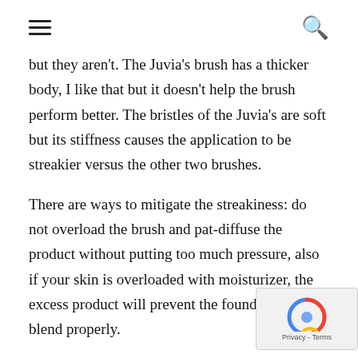≡  🔍
but they aren't. The Juvia's brush has a thicker body, I like that but it doesn't help the brush perform better. The bristles of the Juvia's are soft but its stiffness causes the application to be streakier versus the other two brushes.
There are ways to mitigate the streakiness: do not overload the brush and pat-diffuse the product without putting too much pressure, also if your skin is overloaded with moisturizer, the excess product will prevent the foundation to blend properly.
This is a nice brush to own also if you apply make-up on others, it allows precision and to